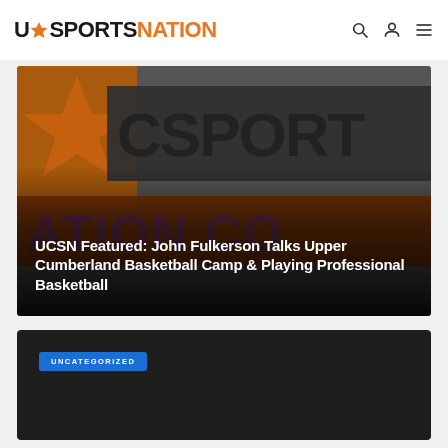UC SPORTS NATION
[Figure (screenshot): Hero image showing the UC Sports Nation logo/branding in dark gray with orange and purple text elements, with a dark gradient overlay at the bottom]
UCSN Featured: John Fulkerson Talks Upper Cumberland Basketball Camp & Playing Professional Basketball
[Figure (screenshot): Dark background card section with an UNCATEGORIZED blue badge label]